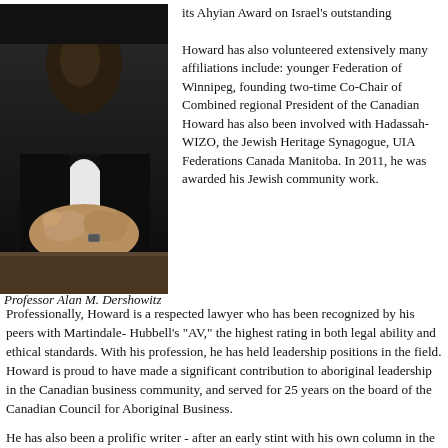[Figure (photo): Black and white photo of Professor Alan M. Dershowitz with hands folded]
Professor Alan M. Dershowitz
Howard has also volunteered extensively in the Jewish community. His many affiliations include: younger leadership division of the Jewish Federation of Winnipeg, founding member and co-chair of Winnipeg, two-time Co-Chair of Combined Jewish Appeal, and Past-President and regional President of the Canadian Zionist Federation. Howard has also been involved with Shaarey Zedek Synagogue, Hadassah-WIZO, the Jewish Heritage Centre, Winnipeg's Beth Israel Synagogue, UIA Federations Canada, and the Jewish Foundation of Manitoba. In 2011, he was awarded the King's Jubilee Medal for his Jewish community work.
Professionally, Howard is a respected lawyer who has been recognized by his peers with Martindale-Hubbell's "AV," the highest rating in both legal ability and ethical standards. Within his profession, he has held leadership positions in the field. Howard is proud to have made a significant contribution to aboriginal leadership in the Canadian business community, and served for 25 years on the board of the Canadian Council for Aboriginal Business.
He has also been a prolific writer - after an early stint with his own column in the Winnipeg Free Press, he has written numerous tax and financial journals across Canada. Howard was awarded the Queen's Diamond Jubilee Medal in recognition of his volunteer leadership and professional accomplishments.
In Hope and Howard's own words, "We are truly thankful for being recognized by Ben-Gurion University, one of Israel's great institutions of higher learning, and for being associated with the legacy of David Ben-Gurion".
Professor Alan M. Dershowitz is a Brooklyn native who has been called "the nation's most peripatetic civil liberties lawyer" and one of its "most distinguished defenders of individual rights", "the best known criminal lawyer in the world" and "the top lawyer of last resort". He has been named America's most "public" lawyer and "the country's most peripatetic lead attorney in the court of public opinion". He is the Felix Frankfurter Professor of Law Emeritus at Harvard Law School, where he joined the Harvard Law School faculty at age 25 - the youngest full professor in its history. He became an Emeritus professor after 50 years of teaching and 10,000 students.